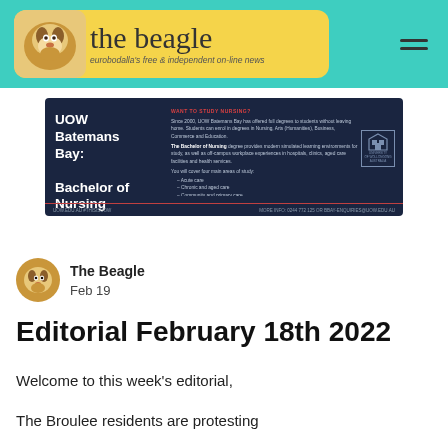the beagle — eurobodalla's free & independent on-line news
[Figure (screenshot): UOW Batemans Bay: Bachelor of Nursing advertisement on dark navy background with University of Wollongong Australia logo]
[Figure (photo): The Beagle profile avatar — beagle dog photo in circular crop]
The Beagle
Feb 19
Editorial February 18th 2022
Welcome to this week's editorial,
The Broulee residents are protesting